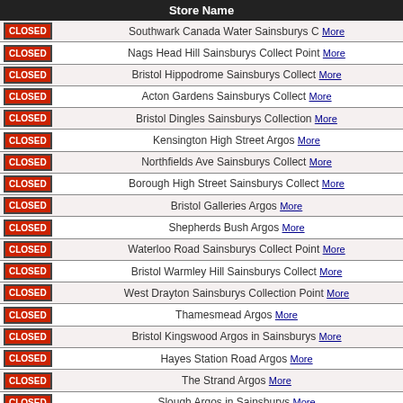|  | Store Name |
| --- | --- |
| CLOSED | Southwark Canada Water Sainsburys C More |
| CLOSED | Nags Head Hill Sainsburys Collect Point More |
| CLOSED | Bristol Hippodrome Sainsburys Collect More |
| CLOSED | Acton Gardens Sainsburys Collect More |
| CLOSED | Bristol Dingles Sainsburys Collection More |
| CLOSED | Kensington High Street Argos More |
| CLOSED | Northfields Ave Sainsburys Collect More |
| CLOSED | Borough High Street Sainsburys Collect More |
| CLOSED | Bristol Galleries Argos More |
| CLOSED | Shepherds Bush Argos More |
| CLOSED | Waterloo Road Sainsburys Collect Point More |
| CLOSED | Bristol Warmley Hill Sainsburys Collect More |
| CLOSED | West Drayton Sainsburys Collection Point More |
| CLOSED | Thamesmead Argos More |
| CLOSED | Bristol Kingswood Argos in Sainsburys More |
| CLOSED | Hayes Station Road Argos More |
| CLOSED | The Strand Argos More |
| CLOSED | Slough Argos in Sainsburys More |
| CLOSED | Bristol Clifton Down Sainsburys Collect More |
| CLOSED | Ealing Argos More |
| CLOSED | Commercial Road Sainsburys Collect More |
| CLOSED | Cheapside Argos More |